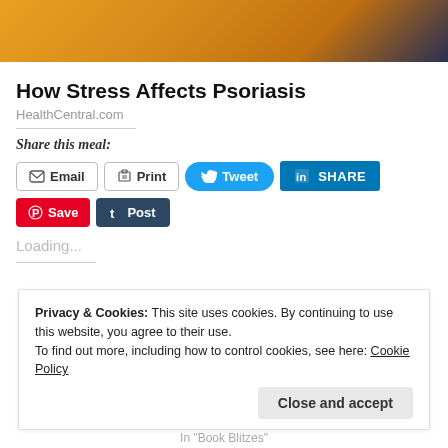[Figure (photo): Partial photo of person in yellow clothing, cropped at top of page]
How Stress Affects Psoriasis
HealthCentral.com
Share this meal:
Email | Print | Tweet | SHARE | Save | Post
Loading...
Privacy & Cookies: This site uses cookies. By continuing to use this website, you agree to their use.
To find out more, including how to control cookies, see here: Cookie Policy
Close and accept
In "Book Blitzes"